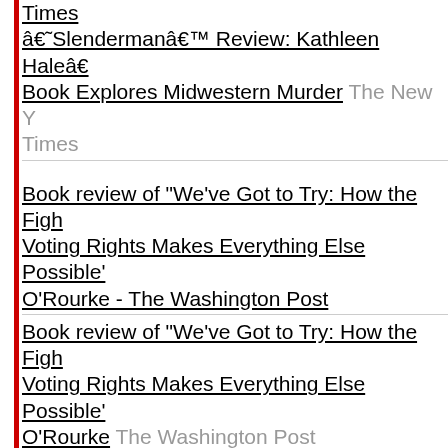Times â€˜Slendermanâ€™ Review: Kathleen Haleâ€™s Book Explores Midwestern Murder The New York Times
Book review of "We've Got to Try: How the Fight for Voting Rights Makes Everything Else Possible" O'Rourke - The Washington Post
Book review of "We've Got to Try: How the Fight for Voting Rights Makes Everything Else Possible" O'Rourke The Washington Post
Compulsion, Triumph, Regret, and Unease | G Winslow-Yost - The New York Review of Books
Compulsion, Triumph, Regret, and Unease | G Winslow-Yost The New York Review of Books
Book review: Beverly Lowry pens fascinating tr...